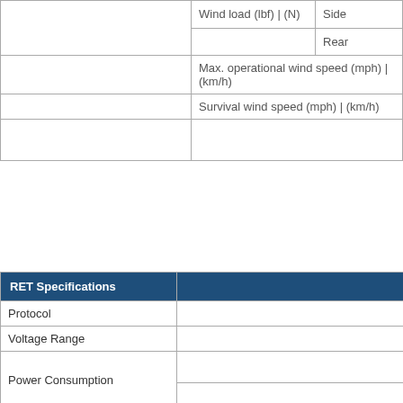|  |  |
| --- | --- |
| Wind load (lbf) | (N) | Side |
|  | Rear |
| Max. operational wind speed (mph) | (km/h) |  |
| Survival wind speed (mph) | (km/h) |  |
|  |  |
| RET Specifications |  |
| --- | --- |
| Protocol | AISG |
| Voltage Range |  |
| Power Consumption |  |
| Power Consumption | < |
| Hardware Interface | 1  2  3  4 |
| Hardware Interface | DC  n/c  RS-485B  n/c |
| Connectors | 8 pin connector, |
| Connectors | 8 pin connector, f |
| Adjustment Resolution |  |